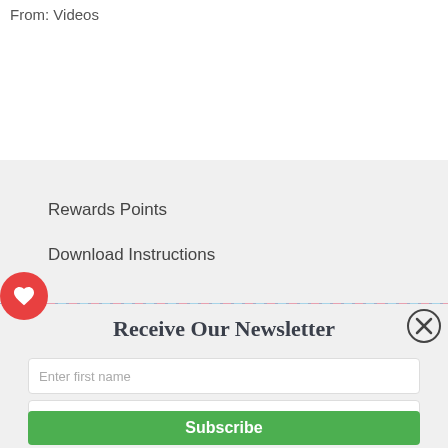From: Videos
Rewards Points
Download Instructions
Receive Our Newsletter
Enter first name
Enter your email
Subscribe